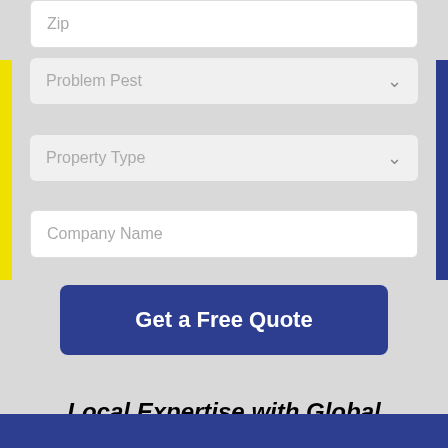Zip
Problem Pest
Property Type
Company Name
Get a Free Quote
Local Expertise with Global Support
Serving NY residents and businesses since 1972
Green, Eco-Friendly Pest Control
Maximum effectiveness with the least environmental impact